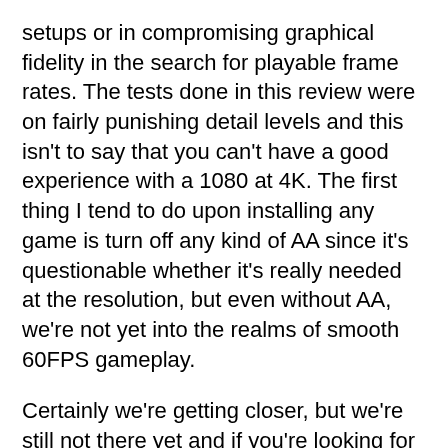setups or in compromising graphical fidelity in the search for playable frame rates. The tests done in this review were on fairly punishing detail levels and this isn't to say that you can't have a good experience with a 1080 at 4K. The first thing I tend to do upon installing any game is turn off any kind of AA since it's questionable whether it's really needed at the resolution, but even without AA, we're not yet into the realms of smooth 60FPS gameplay.
Certainly we're getting closer, but we're still not there yet and if you're looking for 4K gaming and have a 980 Ti or Titan X, chances are the added cost isn't going to be the wisest investment in terms of return for your dollars, pounds, euros or yen. Additionally, given that 1080's are still in fairly short supply and (certainly in the UK) prices have been increasing, likely as a result of the collapse in the pound vs. the dollar since the UK